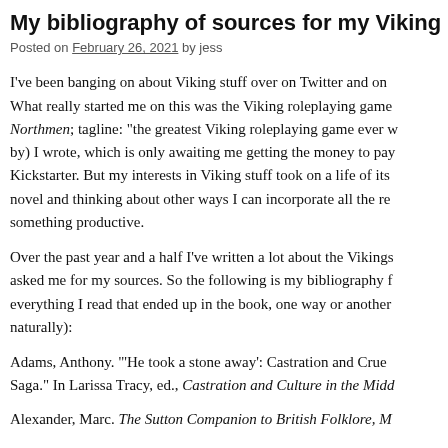My bibliography of sources for my Viking...
Posted on February 26, 2021 by jess
I've been banging on about Viking stuff over on Twitter and on... What really started me on this was the Viking roleplaying game... Northmen; tagline: "the greatest Viking roleplaying game ever w... by) I wrote, which is only awaiting me getting the money to pay... Kickstarter. But my interests in Viking stuff took on a life of its... novel and thinking about other ways I can incorporate all the re... something productive.
Over the past year and a half I've written a lot about the Vikings... asked me for my sources. So the following is my bibliography f... everything I read that ended up in the book, one way or another... naturally):
Adams, Anthony. "'He took a stone away': Castration and Crue... Saga." In Larissa Tracy, ed., Castration and Culture in the Midd...
Alexander, Marc. The Sutton Companion to British Folklore, M...